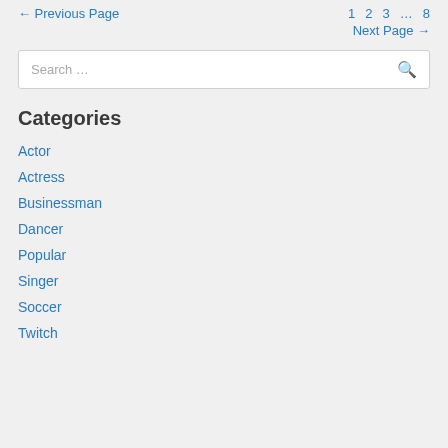← Previous Page   1   2   3   …   8   Next Page →
Search …
Categories
Actor
Actress
Businessman
Dancer
Popular
Singer
Soccer
Twitch